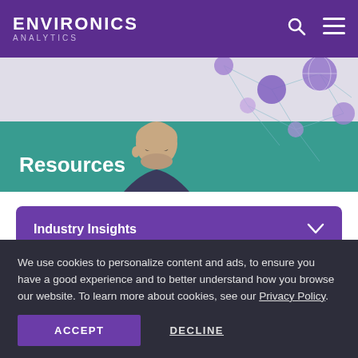ENVIRONICS ANALYTICS
[Figure (illustration): Hero banner with a person wearing glasses and a network/globe diagram illustration on a teal and light grey background with Resources label]
Resources
Industry Insights
The Credit Union Journey: Data-Driven Strategies for Member...
We use cookies to personalize content and ads, to ensure you have a good experience and to better understand how you browse our website. To learn more about cookies, see our Privacy Policy.
ACCEPT
DECLINE